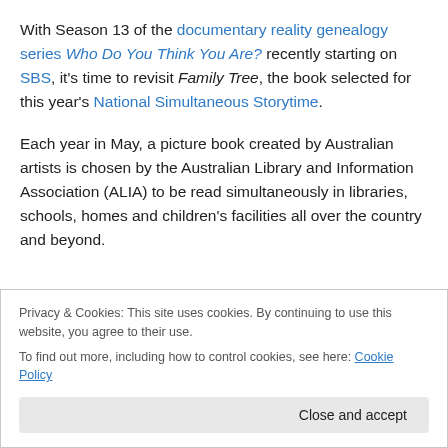With Season 13 of the documentary reality genealogy series Who Do You Think You Are? recently starting on SBS, it's time to revisit Family Tree, the book selected for this year's National Simultaneous Storytime.
Each year in May, a picture book created by Australian artists is chosen by the Australian Library and Information Association (ALIA) to be read simultaneously in libraries, schools, homes and children's facilities all over the country and beyond.
Privacy & Cookies: This site uses cookies. By continuing to use this website, you agree to their use. To find out more, including how to control cookies, see here: Cookie Policy